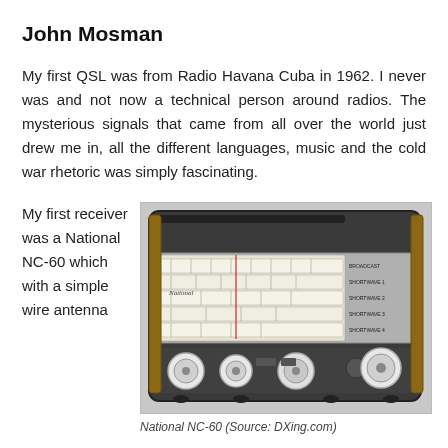John Mosman
My first QSL was from Radio Havana Cuba in 1962. I never was and not now a technical person around radios. The mysterious signals that came from all over the world just drew me in, all the different languages, music and the cold war rhetoric was simply fascinating.
My first receiver was a National NC-60 which with a simple wire antenna
[Figure (photo): Black and white photograph of a National NC-60 shortwave radio receiver, showing frequency dial bands and control knobs on the front panel.]
National NC-60 (Source: DXing.com)